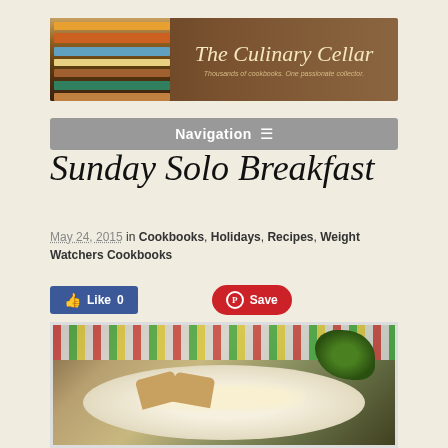[Figure (photo): The Culinary Cellar blog banner with cookbooks and script text reading 'The Culinary Cellar. Thousands of cookbooks. One passionate collector.']
Navigation
Sunday Solo Breakfast
May 24, 2015 in Cookbooks, Holidays, Recipes, Weight Watchers Cookbooks
[Figure (screenshot): Facebook Like button with count 0 and Pinterest Save button]
[Figure (photo): A baked egg dish in a white ceramic dish with toast triangles and fresh herbs, served on a colorful striped cloth]